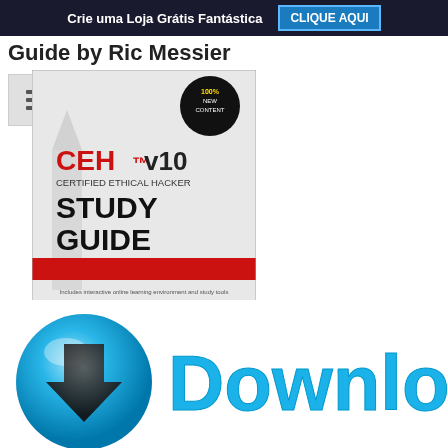Crie uma Loja Grátis Fantástica   CLIQUE AQUI
Study Guide by Ric Messier
[Figure (photo): Book cover: CEH v10 Certified Ethical Hacker Study Guide by Ric Messier, CEH, GSEC, CISSP. Published by Sybex. Includes interactive online learning environment and study tools: 2 custom practice exams, 100 electronic flashcards, Searchable key term glossary. Badge: 100% New Content.]
[Figure (illustration): Blue download button icon (circular 3D button with downward arrow) next to bold cyan text reading 'Download']